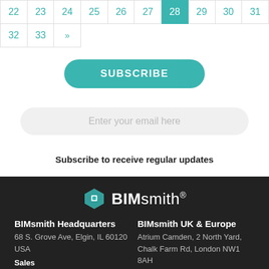| 22 | 23 | 24 | 25 | 26 | 27 | 28 | 29 | 30 | 31 |
| 32 | 33 | » |  |  |  |  |  |  |  |
SUBSCRIBE
Enter your email here
Subscribe to receive regular updates
[Figure (logo): BIMsmith logo with teal hexagonal cube icon and BIMsmith wordmark in white on dark background]
BIMsmith Headquarters
68 S. Grove Ave, Elgin, IL 60120 USA
Sales
BIMsmith UK & Europe
Atrium Camden, 2 North Yard, Chalk Farm Rd, London NW1 8AH